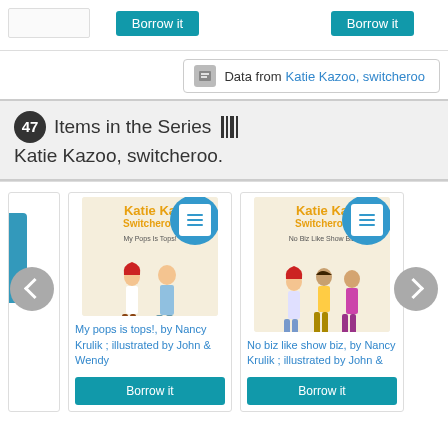[Figure (screenshot): Top section showing two Borrow it buttons at the top of the page]
Data from Katie Kazoo, switcheroo
47 Items in the Series Katie Kazoo, switcheroo.
[Figure (screenshot): Book card for My pops is tops! by Nancy Krulik; illustrated by John & Wendy with Borrow it button]
My pops is tops!, by Nancy Krulik ; illustrated by John & Wendy
[Figure (screenshot): Book card for No biz like show biz by Nancy Krulik; illustrated by John & with Borrow it button]
No biz like show biz, by Nancy Krulik ; illustrated by John &